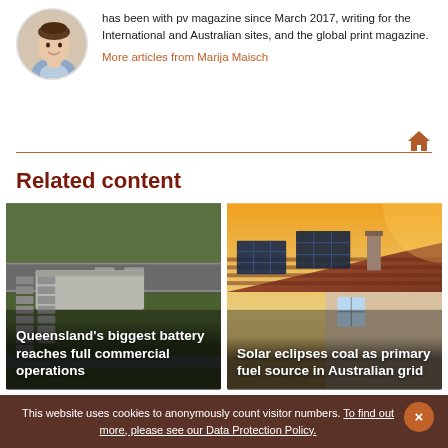has been with pv magazine since March 2017, writing for the International and Australian sites, and the global print magazine.
More articles from Marija Maisch
[Figure (illustration): Home/house icon in dark orange]
Related content
[Figure (photo): Aerial view of Queensland's biggest battery facility]
Queensland's biggest battery reaches full commercial operations
[Figure (photo): Solar panels on rooftop of Australian home]
Solar eclipses coal as primary fuel source in Australian grid
This website uses cookies to anonymously count visitor numbers. To find out more, please see our Data Protection Policy.